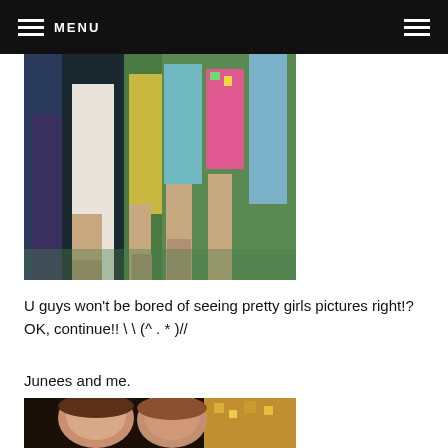MENU
[Figure (photo): Group of girls standing outdoors on green grass, showing their outfits — dresses in white, yellow, teal, and floral patterns with sandals visible.]
U guys won't be bored of seeing pretty girls pictures right!? OK, continue!! \ \ (^ . * )//
Junees and me.
[Figure (photo): Two girls posing together, partial view showing faces and shoulders with warm lighting.]